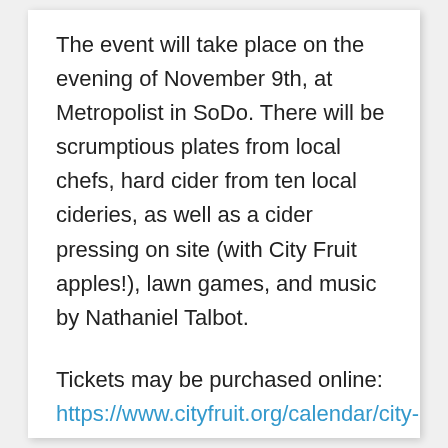The event will take place on the evening of November 9th, at Metropolist in SoDo. There will be scrumptious plates from local chefs, hard cider from ten local cideries, as well as a cider pressing on site (with City Fruit apples!), lawn games, and music by Nathaniel Talbot.
Tickets may be purchased online: https://www.cityfruit.org/calendar/city-fruit-celebrates-2017
All funds from the event will support City Fruit's work to protect Seattle's fruit tree canopy and build community